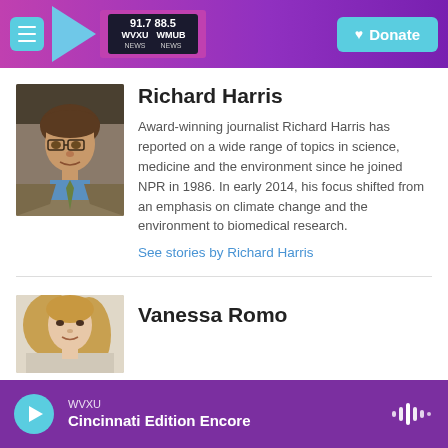[Figure (screenshot): WVXU radio station website header with logo showing 91.7 WVXU NEWS and 88.5 WHUR NEWS, navigation menu icon, play arrow, and purple gradient background with Donate button]
[Figure (photo): Headshot photo of Richard Harris, a middle-aged man with brown hair wearing glasses, a tan jacket, and blue shirt with tie]
Richard Harris
Award-winning journalist Richard Harris has reported on a wide range of topics in science, medicine and the environment since he joined NPR in 1986. In early 2014, his focus shifted from an emphasis on climate change and the environment to biomedical research.
See stories by Richard Harris
[Figure (photo): Headshot photo of Vanessa Romo, a woman with long blonde hair]
Vanessa Romo
WVXU Cincinnati Edition Encore